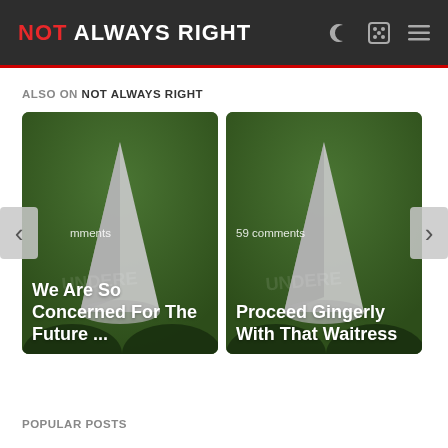NOT ALWAYS RIGHT
ALSO ON NOT ALWAYS RIGHT
[Figure (illustration): Card 1: Green background with gray conical gnome hat illustration. Text overlay: 'mments' (partially hidden), 'We Are So Concerned For The Future ...']
[Figure (illustration): Card 2: Green background with gray conical gnome hat illustration. Text overlay: '59 comments', 'Proceed Gingerly With That Waitress']
POPULAR POSTS